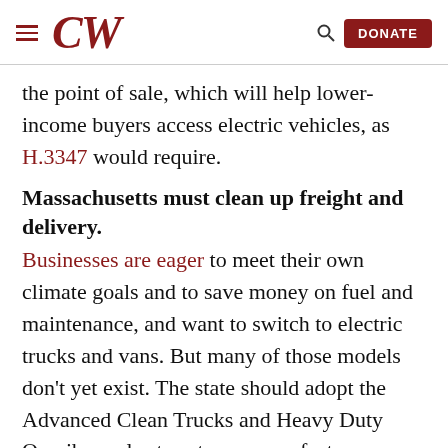CW | DONATE
the point of sale, which will help lower-income buyers access electric vehicles, as H.3347 would require.
Massachusetts must clean up freight and delivery.
Businesses are eager to meet their own climate goals and to save money on fuel and maintenance, and want to switch to electric trucks and vans. But many of those models don’t yet exist. The state should adopt the Advanced Clean Trucks and Heavy Duty Omnibus rules to set new manufacturer standards to accelerate the shift and dramatically reduce trucking pollution. The Baker administration is considering these rules, and lawmakers should also consider other policies to